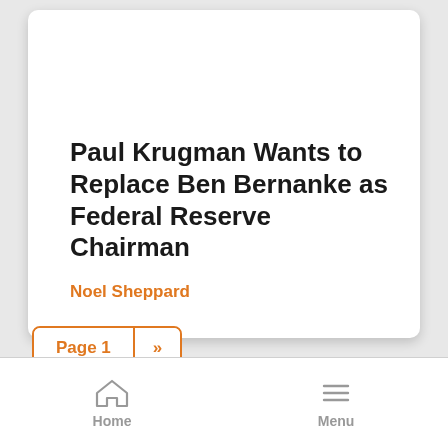Paul Krugman Wants to Replace Ben Bernanke as Federal Reserve Chairman
Noel Sheppard
Page 1 >>
Home  Menu